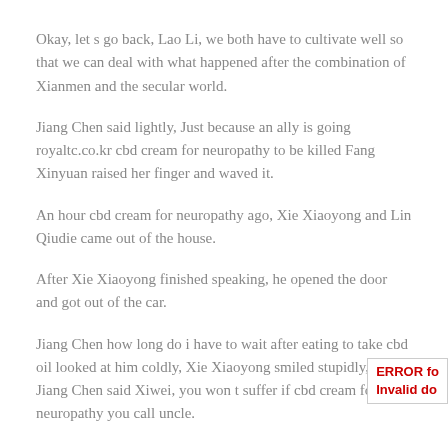Okay, let s go back, Lao Li, we both have to cultivate well so that we can deal with what happened after the combination of Xianmen and the secular world.
Jiang Chen said lightly, Just because an ally is going royaltc.co.kr cbd cream for neuropathy to be killed Fang Xinyuan raised her finger and waved it.
An hour cbd cream for neuropathy ago, Xie Xiaoyong and Lin Qiudie came out of the house.
After Xie Xiaoyong finished speaking, he opened the door and got out of the car.
Jiang Chen how long do i have to wait after eating to take cbd oil looked at him coldly, Xie Xiaoyong smiled stupidly, Then Jiang Chen said Xiwei, you won t suffer if cbd cream for neuropathy you call uncle.
Sun Wei cbd cream for neuropathy said to An Shuang. An Shuang had no choice but to nod, then turned her head away and stopped looking.